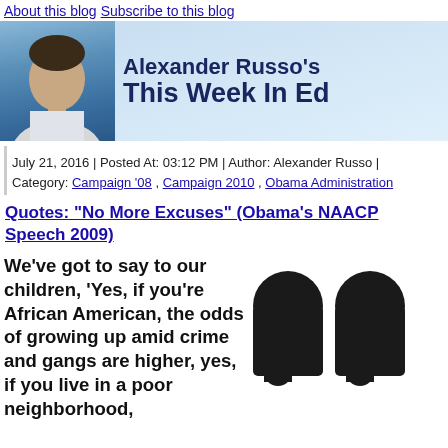About this blog  Subscribe to this blog
[Figure (illustration): Banner header image for Alexander Russo's blog 'This Week In Ed', showing a photo of Alexander Russo alongside the blog name text on a blue gradient background with an @ symbol.]
July 21, 2016 | Posted At: 03:12 PM | Author: Alexander Russo | Category: Campaign '08 , Campaign 2010 , Obama Administration
Quotes: "No More Excuses" (Obama's NAACP Speech 2009)
We've got to say to our children, 'Yes, if you're African American, the odds of growing up amid crime and gangs are higher, yes, if you live in a poor neighborhood,